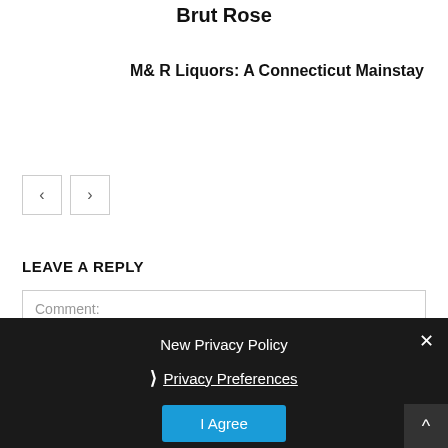Brut Rose
M& R Liquors: A Connecticut Mainstay
[Figure (other): Navigation previous and next arrow buttons]
LEAVE A REPLY
Comment:
New Privacy Policy
❯ Privacy Preferences
I Agree